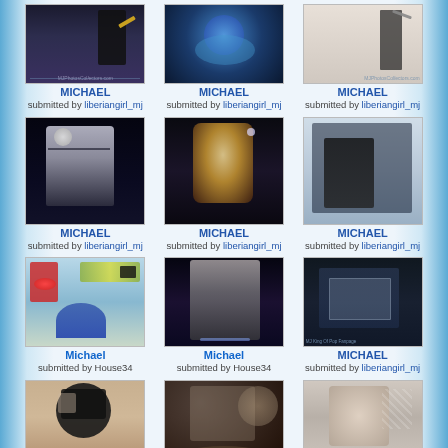[Figure (photo): Photo of Michael Jackson conducting/pointing, watermark MJPhotosCollectors.com]
MICHAEL
submitted by liberiangirl_mj
[Figure (photo): Photo of Michael Jackson with Earth/globe background]
MICHAEL
submitted by liberiangirl_mj
[Figure (photo): Photo of Michael Jackson with stick, watermark MJPhotosCollectors.com]
MICHAEL
submitted by liberiangirl_mj
[Figure (photo): Photo of Michael Jackson with dramatic black and white makeup, black outfit]
MICHAEL
submitted by liberiangirl_mj
[Figure (photo): Photo of Michael Jackson performing on stage with yellow shirt and headset mic]
MICHAEL
submitted by liberiangirl_mj
[Figure (photo): Photo of shadowy figure in store/shop]
MICHAEL
submitted by liberiangirl_mj
[Figure (photo): Photo of still life with dollar bill, tulips, teapot]
Michael
submitted by House34
[Figure (photo): Photo of Michael Jackson performing with hat and white suit on stage]
Michael
submitted by House34
[Figure (photo): Photo of Michael Jackson behind glass/reflection, King of Pop watermark]
MICHAEL
submitted by liberiangirl_mj
[Figure (photo): Partial photo of Michael Jackson with black fedora hat]
[Figure (photo): Photo of Michael Jackson with skulls background]
[Figure (photo): Partial photo of Michael Jackson in white floral/patterned shirt]